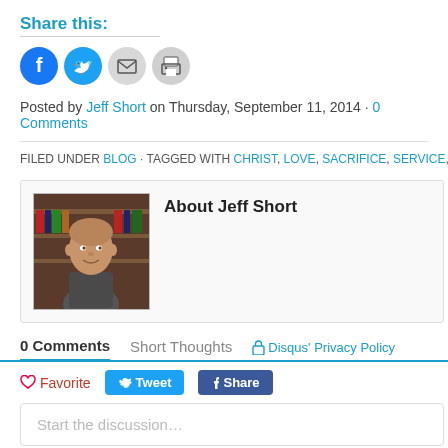Share this:
[Figure (screenshot): Social share icon buttons: Facebook (blue circle), Twitter (blue circle), Email (gray circle), Print (gray circle)]
Posted by Jeff Short on Thursday, September 11, 2014 · 0 Comments
FILED UNDER BLOG · TAGGED WITH CHRIST, LOVE, SACRIFICE, SERVICE, SHOR
About Jeff Short
[Figure (photo): Portrait photo of Jeff Short, a bald man smiling, standing in front of bookshelves]
0 Comments   Short Thoughts   🔒 Disqus' Privacy Policy
♡ Favorite   Tweet   f Share
Start the discussion...